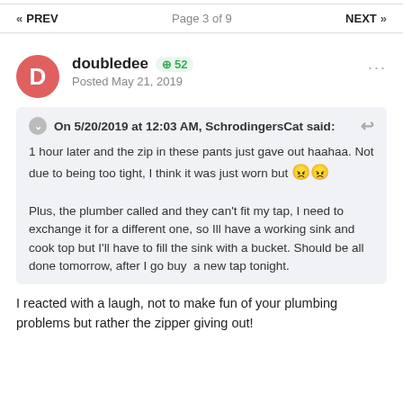« PREV  Page 3 of 9  NEXT »
doubledee +52
Posted May 21, 2019
On 5/20/2019 at 12:03 AM, SchrodingersCat said:
1 hour later and the zip in these pants just gave out haahaa. Not due to being too tight, I think it was just worn but 😠😠

Plus, the plumber called and they can't fit my tap, I need to exchange it for a different one, so Ill have a working sink and cook top but I'll have to fill the sink with a bucket. Should be all done tomorrow, after I go buy  a new tap tonight.
I reacted with a laugh, not to make fun of your plumbing problems but rather the zipper giving out!